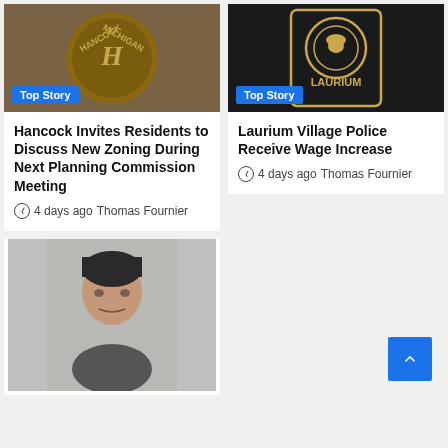[Figure (photo): Hancock Michigan city logo/badge on brown background]
[Figure (photo): Laurium police patch with gold emblem on black background]
Hancock Invites Residents to Discuss New Zoning During Next Planning Commission Meeting
4 days ago  Thomas Fournier
Laurium Village Police Receive Wage Increase
4 days ago  Thomas Fournier
[Figure (photo): Mugshot photo of a middle-aged man with dark hair on grey background]